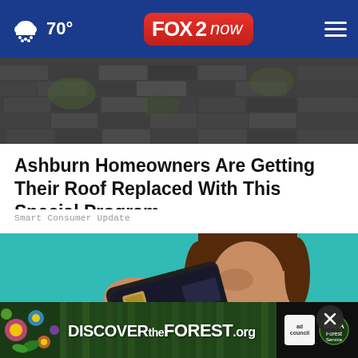70° FOX 2 now
[Figure (photo): Damaged or worn roof shingles viewed from above]
Ashburn Homeowners Are Getting Their Roof Replaced With This Special Program
Smart Consumer Update
[Figure (photo): Young woman holding a dark credit card in front of her eye against a teal background]
[Figure (other): Discover the Forest .org advertisement banner with Ad Council and US Forest Service logos]